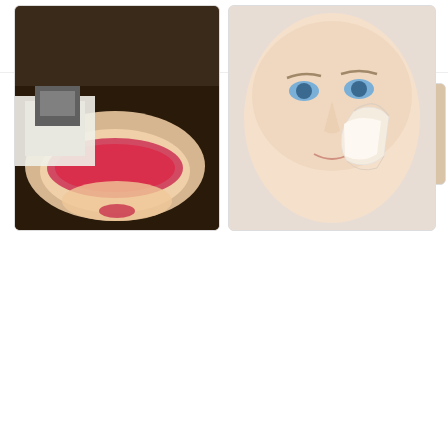Gupta Skin & Eye Care Centre
[Figure (photo): Close-up of an arm or body part receiving a skin treatment, showing skin texture on a treatment table]
[Figure (photo): Close-up of skin being peeled or stretched, showing skin elasticity or peeling treatment]
Microdermabrasion
Chemical Peeling
[Figure (photo): Woman lying down wearing pink protective goggles receiving laser or microdermabrasion facial treatment from a technician in gloves using a handheld device]
[Figure (photo): Woman's face with peeling skin layer being lifted from cheek, illustrating chemical peel treatment result]